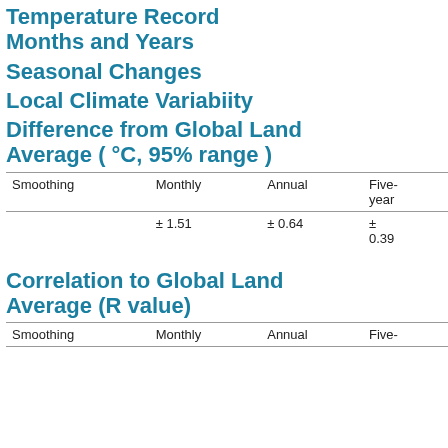Temperature Record Months and Years
Seasonal Changes
Local Climate Variabiity
Difference from Global Land Average ( °C, 95% range )
| Smoothing | Monthly | Annual | Five-year | Ten-year | Twenty-year |
| --- | --- | --- | --- | --- | --- |
|  | ± 1.51 | ± 0.64 | ± 0.39 | ± 0.33 | ± 0.26 |
Correlation to Global Land Average (R value)
| Smoothing | Monthly | Annual | Five- | Ten- | Twenty- |
| --- | --- | --- | --- | --- | --- |
Nearby
Major Cities
Dhaka
Calcutta
Hyderab
Kanpur
Lakhnau
Nagpur
Long Temperature Stations
JAIPUR / SANGAM
JIANGZE
XIGAZE
SILCHA